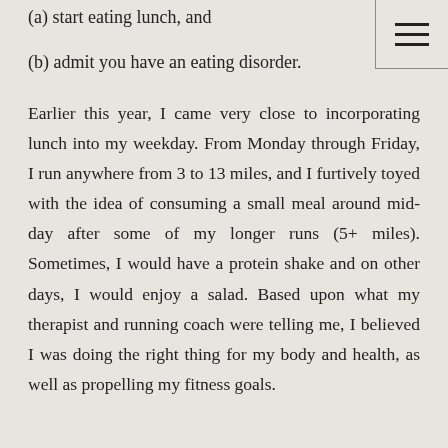(a) start eating lunch, and
(b) admit you have an eating disorder.
Earlier this year, I came very close to incorporating lunch into my weekday. From Monday through Friday, I run anywhere from 3 to 13 miles, and I furtively toyed with the idea of consuming a small meal around mid-day after some of my longer runs (5+ miles). Sometimes, I would have a protein shake and on other days, I would enjoy a salad. Based upon what my therapist and running coach were telling me, I believed I was doing the right thing for my body and health, as well as propelling my fitness goals.